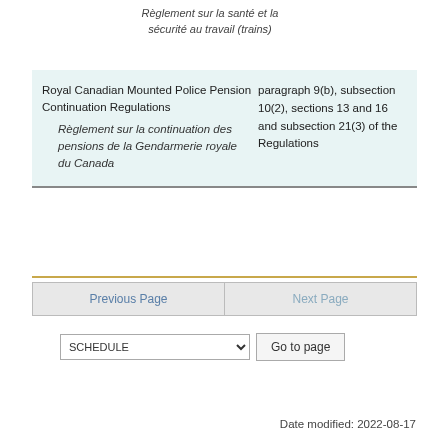Règlement sur la santé et la sécurité au travail (trains)
| Regulation | Provisions |
| --- | --- |
| Royal Canadian Mounted Police Pension Continuation Regulations
Règlement sur la continuation des pensions de la Gendarmerie royale du Canada | paragraph 9(b), subsection 10(2), sections 13 and 16 and subsection 21(3) of the Regulations |
Previous Page
Next Page
SCHEDULE
Go to page
Date modified: 2022-08-17